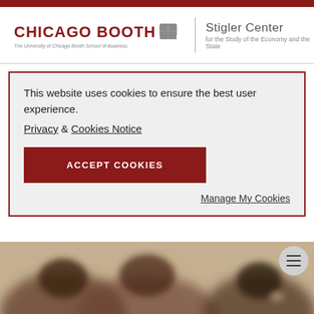CHICAGO BOOTH | Stigler Center for the Study of the Economy and the State
This website uses cookies to ensure the best user experience.
Privacy & Cookies Notice
ACCEPT COOKIES
Manage My Cookies
[Figure (photo): Blurred photo of people in a classroom or audience setting, viewed from behind.]